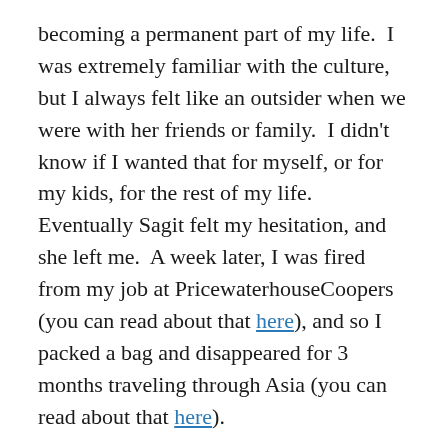becoming a permanent part of my life.  I was extremely familiar with the culture, but I always felt like an outsider when we were with her friends or family.  I didn't know if I wanted that for myself, or for my kids, for the rest of my life.  Eventually Sagit felt my hesitation, and she left me.  A week later, I was fired from my job at PricewaterhouseCoopers (you can read about that here), and so I packed a bag and disappeared for 3 months traveling through Asia (you can read about that here).
After completing my Masters at Cornell, I started my job at Sol Melia Hotels & Resorts in June 2003.  In August 2003, I met my future wife, Sina.  But I would have to wait at least 5